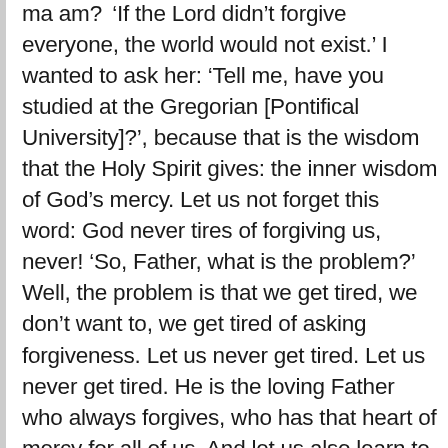ma am? 'If the Lord didn't forgive everyone, the world would not exist.' I wanted to ask her: 'Tell me, have you studied at the Gregorian [Pontifical University]?', because that is the wisdom that the Holy Spirit gives: the inner wisdom of God's mercy. Let us not forget this word: God never tires of forgiving us, never! 'So, Father, what is the problem?' Well, the problem is that we get tired, we don't want to, we get tired of asking forgiveness. Let us never get tired. Let us never get tired. He is the loving Father who always forgives, who has that heart of mercy for all of us. And let us also learn to be merciful with everyone. Let us call upon the intercession of the Madonna who has